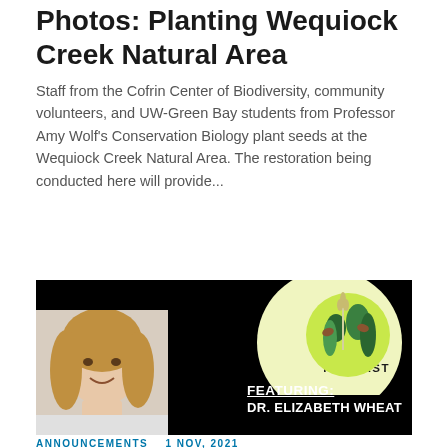Photos: Planting Wequiock Creek Natural Area
Staff from the Cofrin Center of Biodiversity, community volunteers, and UW-Green Bay students from Professor Amy Wolf's Conservation Biology plant seeds at the Wequiock Creek Natural Area. The restoration being conducted here will provide...
[Figure (photo): Podcast promotional image with black background, yellow circle with frog illustration in top right, a headshot of a woman with long blonde hair on the left, and text reading 'PODCAST', 'FEATURING:', 'DR. ELIZABETH WHEAT' on the right side.]
ANNOUNCEMENTS   1 NOV, 2021